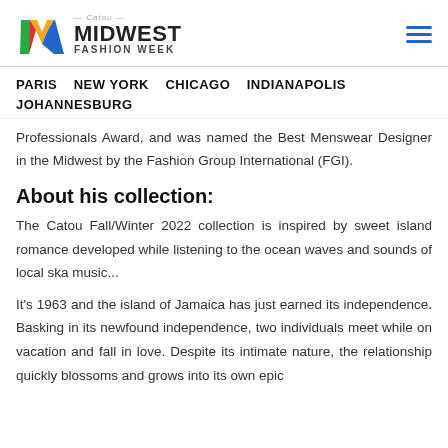Midwest Fashion Week
PARIS   NEW YORK   CHICAGO   INDIANAPOLIS   JOHANNESBURG
Professionals Award, and was named the Best Menswear Designer in the Midwest by the Fashion Group International (FGI).
About his collection:
The Catou Fall/Winter 2022 collection is inspired by sweet island romance developed while listening to the ocean waves and sounds of local ska music...
It's 1963 and the island of Jamaica has just earned its independence. Basking in its newfound independence, two individuals meet while on vacation and fall in love. Despite its intimate nature, the relationship quickly blossoms and grows into its own epic